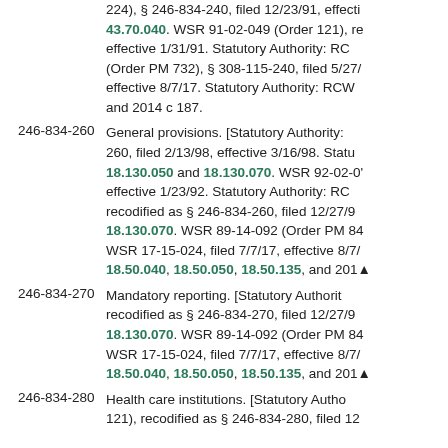224), § 246-834-240, filed 12/23/91, effecti 43.70.040. WSR 91-02-049 (Order 121), re effective 1/31/91. Statutory Authority: RC (Order PM 732), § 308-115-240, filed 5/27/ effective 8/7/17. Statutory Authority: RCW and 2014 c 187.
246-834-260 General provisions. [Statutory Authority: 260, filed 2/13/98, effective 3/16/98. Statu 18.130.050 and 18.130.070. WSR 92-02-0' effective 1/23/92. Statutory Authority: RC recodified as § 246-834-260, filed 12/27/9 18.130.070. WSR 89-14-092 (Order PM 84 WSR 17-15-024, filed 7/7/17, effective 8/7/ 18.50.040, 18.50.050, 18.50.135, and 201
246-834-270 Mandatory reporting. [Statutory Authori recodified as § 246-834-270, filed 12/27/9 18.130.070. WSR 89-14-092 (Order PM 84 WSR 17-15-024, filed 7/7/17, effective 8/7/ 18.50.040, 18.50.050, 18.50.135, and 201
246-834-280 Health care institutions. [Statutory Autho 121), recodified as § 246-834-280, filed 12